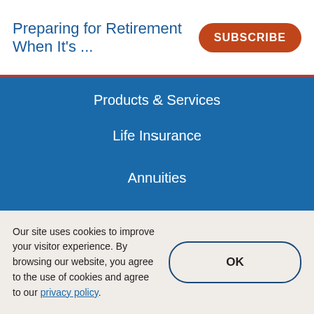Preparing for Retirement When It's ...
Products & Services
Life Insurance
Annuities
Investments
Additional Insurance
Small Business Solutions
Support
Make a Payment
Our site uses cookies to improve your visitor experience. By browsing our website, you agree to the use of cookies and agree to our privacy policy.